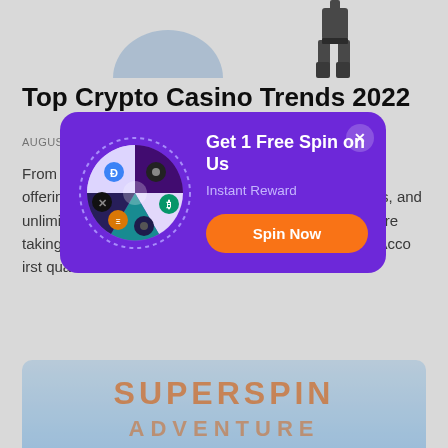[Figure (illustration): Partial images at top: a blue semicircle/arch shape and a dark figure silhouette (person with gear)]
Top Crypto Casino Trends 2022
AUGUST 13, 2022 BY JAKOB — LEAVE A COMMENT
From in-house tokens, new styles of play, initial coin offerings, in-house-made games, fantastic tournaments, and unlimited withdrawals – the new crypto casino trends are taking the industry by storm.  And, why wouldn't they! Acco... irst quan... more than...
[Figure (infographic): Purple popup modal overlay with a spinning wheel graphic on the left (cryptocurrency icons), title 'Get 1 Free Spin on Us', subtitle 'Instant Reward', and orange 'Spin Now' button. Close (X) button in top right corner.]
[Figure (illustration): Bottom portion showing a colorful banner/logo image in orange text on light blue background, partially visible]